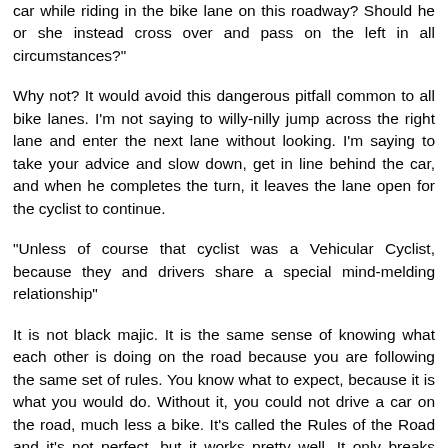car while riding in the bike lane on this roadway? Should he or she instead cross over and pass on the left in all circumstances?"
Why not? It would avoid this dangerous pitfall common to all bike lanes. I'm not saying to willy-nilly jump across the right lane and enter the next lane without looking. I'm saying to take your advice and slow down, get in line behind the car, and when he completes the turn, it leaves the lane open for the cyclist to continue.
"Unless of course that cyclist was a Vehicular Cyclist, because they and drivers share a special mind-melding relationship"
It is not black majic. It is the same sense of knowing what each other is doing on the road because you are following the same set of rules. You know what to expect, because it is what you would do. Without it, you could not drive a car on the road, much less a bike. It's called the Rules of the Road and it's not perfect, but it works pretty well. It only breaks down when someone doesn't follow them. Why do you insist it does not work for cyclists? Oh, yes. Because